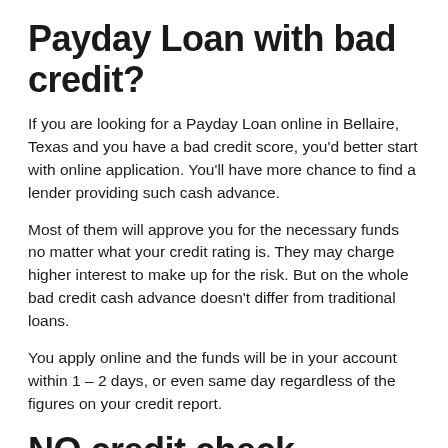Payday Loan with bad credit?
If you are looking for a Payday Loan online in Bellaire, Texas and you have a bad credit score, you'd better start with online application. You'll have more chance to find a lender providing such cash advance.
Most of them will approve you for the necessary funds no matter what your credit rating is. They may charge higher interest to make up for the risk. But on the whole bad credit cash advance doesn't differ from traditional loans.
You apply online and the funds will be in your account within 1 – 2 days, or even same day regardless of the figures on your credit report.
NO credit check Payday